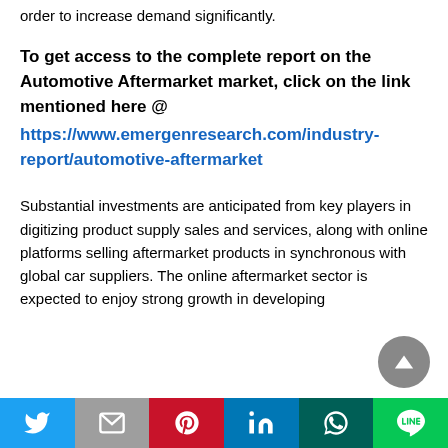order to increase demand significantly.
To get access to the complete report on the Automotive Aftermarket market, click on the link mentioned here @ https://www.emergenresearch.com/industry-report/automotive-aftermarket
Substantial investments are anticipated from key players in digitizing product supply sales and services, along with online platforms selling aftermarket products in synchronous with global car suppliers. The online aftermarket sector is expected to enjoy strong growth in developing
Twitter | Mail | Pinterest | LinkedIn | WhatsApp | LINE